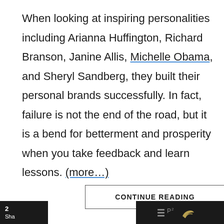When looking at inspiring personalities including Arianna Huffington, Richard Branson, Janine Allis, Michelle Obama, and Sheryl Sandberg, they built their personal brands successfully. In fact, failure is not the end of the road, but it is a bend for betterment and prosperity when you take feedback and learn lessons. (more…)
[Figure (other): Google reCAPTCHA widget with recycling arrow icon and Privacy · Terms text]
CONTINUE READING